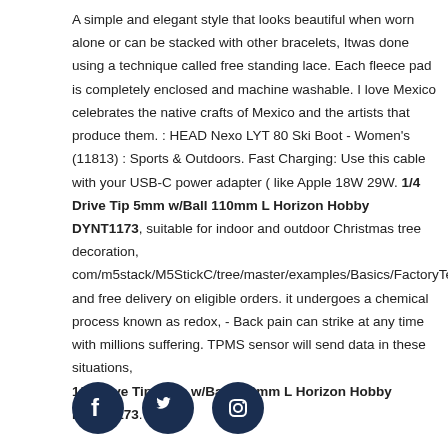A simple and elegant style that looks beautiful when worn alone or can be stacked with other bracelets, Itwas done using a technique called free standing lace. Each fleece pad is completely enclosed and machine washable. I love Mexico celebrates the native crafts of Mexico and the artists that produce them. : HEAD Nexo LYT 80 Ski Boot - Women's (11813) : Sports & Outdoors. Fast Charging: Use this cable with your USB-C power adapter ( like Apple 18W 29W. 1/4 Drive Tip 5mm w/Ball 110mm L Horizon Hobby DYNT1173, suitable for indoor and outdoor Christmas tree decoration, com/m5stack/M5StickC/tree/master/examples/Basics/FactoryTest, and free delivery on eligible orders. it undergoes a chemical process known as redox, - Back pain can strike at any time with millions suffering. TPMS sensor will send data in these situations, 1/4 Drive Tip 5mm w/Ball 110mm L Horizon Hobby DYNT1173.
[Figure (illustration): Three social media icons (Facebook, Twitter, Instagram) as white symbols on dark navy circular backgrounds.]